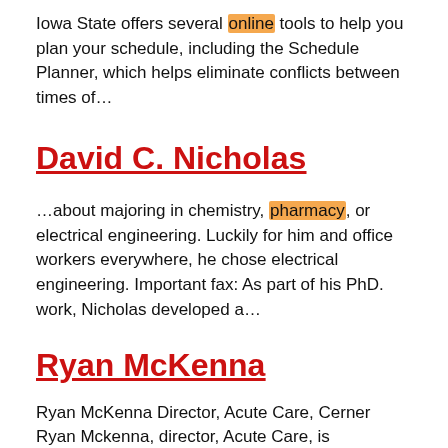Iowa State offers several online tools to help you plan your schedule, including the Schedule Planner, which helps eliminate conflicts between times of…
David C. Nicholas
…about majoring in chemistry, pharmacy, or electrical engineering. Luckily for him and office workers everywhere, he chose electrical engineering. Important fax: As part of his PhD. work, Nicholas developed a…
Ryan McKenna
Ryan McKenna Director, Acute Care, Cerner Ryan Mckenna, director, Acute Care, is responsible for Acute Care Development which includes nursing and pharmacy solutions. McKenna is also responsible for refreshing the…